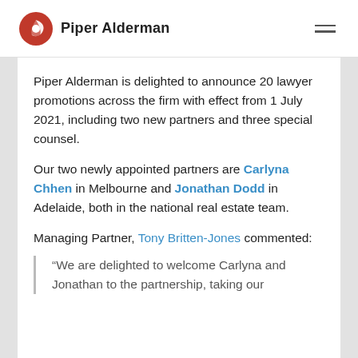Piper Alderman
Piper Alderman is delighted to announce 20 lawyer promotions across the firm with effect from 1 July 2021, including two new partners and three special counsel.
Our two newly appointed partners are Carlyna Chhen in Melbourne and Jonathan Dodd in Adelaide, both in the national real estate team.
Managing Partner, Tony Britten-Jones commented:
“We are delighted to welcome Carlyna and Jonathan to the partnership, taking our